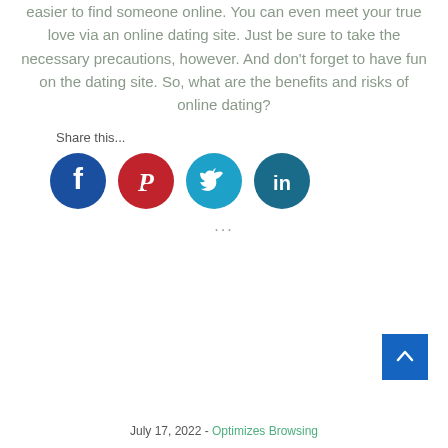easier to find someone online. You can even meet your true love via an online dating site. Just be sure to take the necessary precautions, however. And don't forget to have fun on the dating site. So, what are the benefits and risks of online dating?
Share this...
[Figure (infographic): Four social media share icons in a row: Facebook (dark blue circle with white f), Pinterest (dark red circle with white P logo), Twitter (cyan circle with white bird), LinkedIn (dark teal circle with white 'in')]
...
July 17, 2022 - Optimizes Browsing